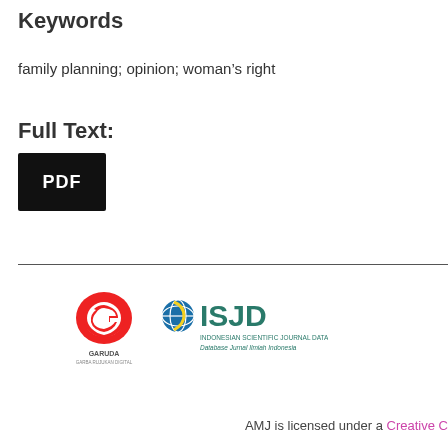Keywords
family planning; opinion; woman’s right
Full Text:
[Figure (other): Black PDF button/icon]
[Figure (logo): GARUDA and ISJD (Indonesian Scientific Journal Database) logos side by side]
AMJ is licensed under a Creative C